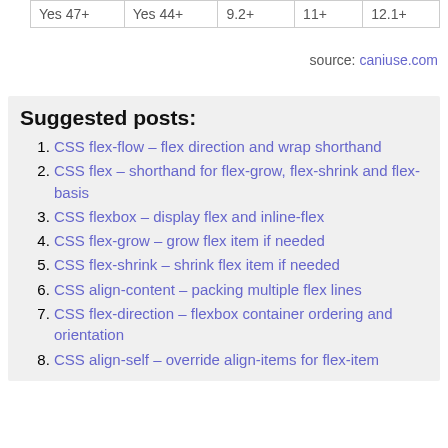| Yes 47+ | Yes 44+ | 9.2+ | 11+ | 12.1+ |
source: caniuse.com
Suggested posts:
CSS flex-flow – flex direction and wrap shorthand
CSS flex – shorthand for flex-grow, flex-shrink and flex-basis
CSS flexbox – display flex and inline-flex
CSS flex-grow – grow flex item if needed
CSS flex-shrink – shrink flex item if needed
CSS align-content – packing multiple flex lines
CSS flex-direction – flexbox container ordering and orientation
CSS align-self – override align-items for flex-item